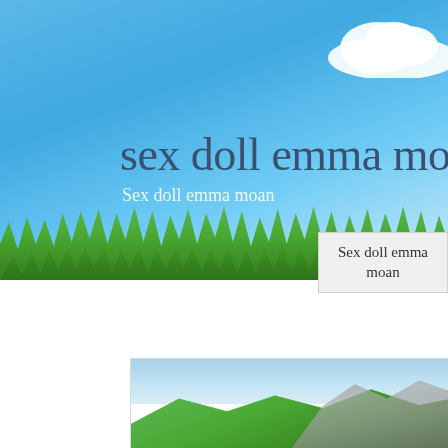[Figure (photo): Website banner with blue sky background, white cloud in upper right, green grass strip at bottom, with title text overlay]
sex doll emma moan
Sex doll emma moan
Sex doll emma moan
[Figure (photo): Green rolling hills landscape with blue sky and rocky cliff]